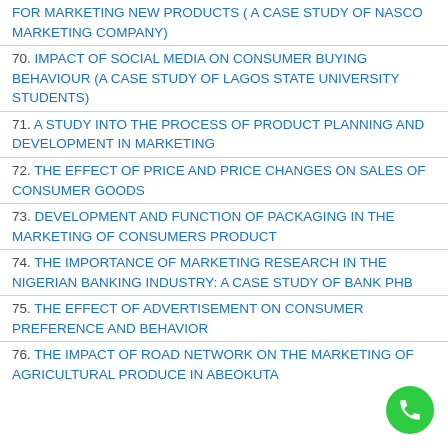FOR MARKETING NEW PRODUCTS ( A CASE STUDY OF NASCO MARKETING COMPANY)
70. IMPACT OF SOCIAL MEDIA ON CONSUMER BUYING BEHAVIOUR (A CASE STUDY OF LAGOS STATE UNIVERSITY STUDENTS)
71. A STUDY INTO THE PROCESS OF PRODUCT PLANNING AND DEVELOPMENT IN MARKETING
72. THE EFFECT OF PRICE AND PRICE CHANGES ON SALES OF CONSUMER GOODS
73. DEVELOPMENT AND FUNCTION OF PACKAGING IN THE MARKETING OF CONSUMERS PRODUCT
74. THE IMPORTANCE OF MARKETING RESEARCH IN THE NIGERIAN BANKING INDUSTRY: A CASE STUDY OF BANK PHB
75. THE EFFECT OF ADVERTISEMENT ON CONSUMER PREFERENCE AND BEHAVIOR
76. THE IMPACT OF ROAD NETWORK ON THE MARKETING OF AGRICULTURAL PRODUCE IN ABEOKUTA